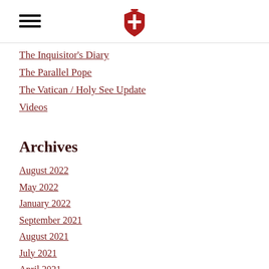[hamburger menu icon] [Vatican/Holy See shield logo]
The Inquisitor's Diary
The Parallel Pope
The Vatican / Holy See Update
Videos
Archives
August 2022
May 2022
January 2022
September 2021
August 2021
July 2021
April 2021
March 2021
February 2021
January 2021